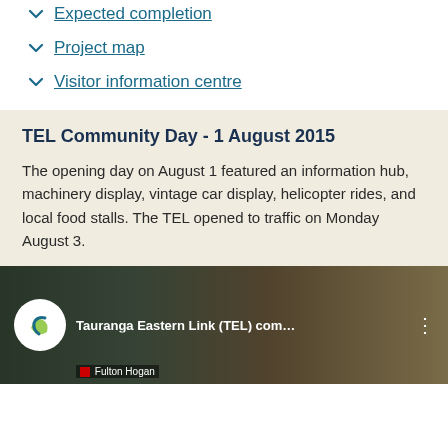Expected completion
Project map
Visitor information centre
TEL Community Day - 1 August 2015
The opening day on August 1 featured an information hub, machinery display, vintage car display, helicopter rides, and local food stalls. The TEL opened to traffic on Monday August 3.
[Figure (screenshot): YouTube video thumbnail showing Tauranga Eastern Link (TEL) community day footage with Fulton Hogan branding and construction/event scene]